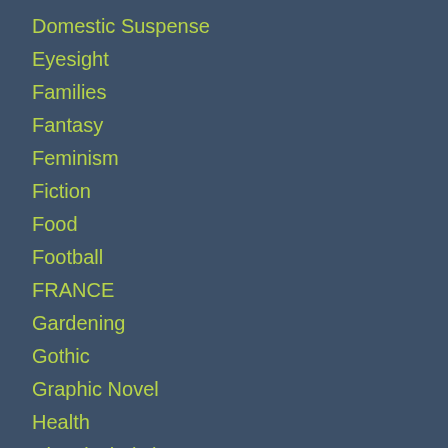Domestic Suspense
Eyesight
Families
Fantasy
Feminism
Fiction
Food
Football
FRANCE
Gardening
Gothic
Graphic Novel
Health
Historical Fiction
Historical Romance
History
Horror
Iron